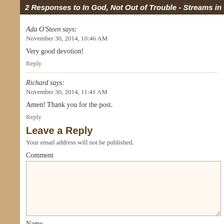2 Responses to In God, Not Out of Trouble - Streams in t
Ada O'Steen says:
November 30, 2014, 10:46 AM
Very good devotion!
Reply
Richard says:
November 30, 2014, 11:41 AM
Amen! Thank you for the post.
Reply
Leave a Reply
Your email address will not be published.
Comment
Name